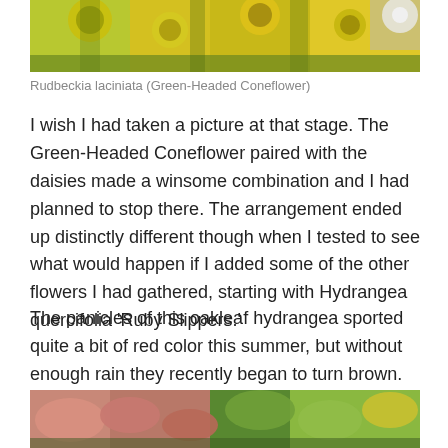[Figure (photo): Close-up photo of yellow-green Rudbeckia laciniata flowers (Green-Headed Coneflower) with green foliage]
Rudbeckia laciniata (Green-Headed Coneflower)
I wish I had taken a picture at that stage. The Green-Headed Coneflower paired with the daisies made a winsome combination and I had planned to stop there. The arrangement ended up distinctly different though when I tested to see what would happen if I added some of the other flowers I had gathered, starting with Hydrangea quercifolia 'Ruby Slippers.'
The panicles of this oakleaf hydrangea sported quite a bit of red color this summer, but without enough rain they recently began to turn brown.
[Figure (photo): Close-up photo of pink and green oakleaf hydrangea (Hydrangea quercifolia 'Ruby Slippers') foliage and flower panicles]